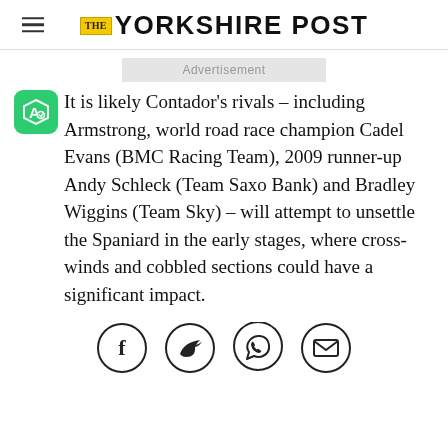THE YORKSHIRE POST
Advertisement
It is likely Contador's rivals – including Armstrong, world road race champion Cadel Evans (BMC Racing Team), 2009 runner-up Andy Schleck (Team Saxo Bank) and Bradley Wiggins (Team Sky) – will attempt to unsettle the Spaniard in the early stages, where cross-winds and cobbled sections could have a significant impact.
[Figure (infographic): Social sharing icons: Facebook, Twitter, WhatsApp, Email]